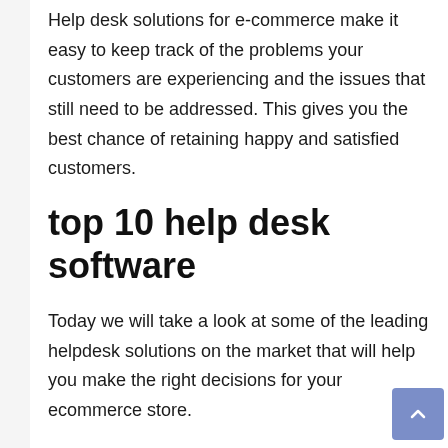Help desk solutions for e-commerce make it easy to keep track of the problems your customers are experiencing and the issues that still need to be addressed. This gives you the best chance of retaining happy and satisfied customers.
top 10 help desk software
Today we will take a look at some of the leading helpdesk solutions on the market that will help you make the right decisions for your ecommerce store.
1. HubSpot Service Hub